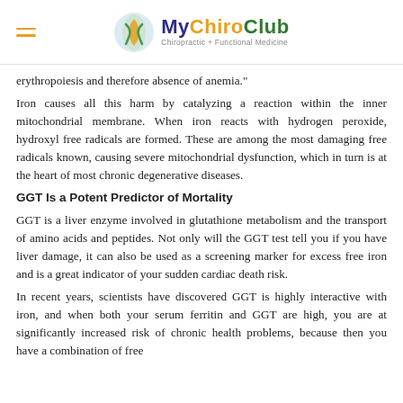MyChiroClub — Chiropractic + Functional Medicine
erythropoiesis and therefore absence of anemia."
Iron causes all this harm by catalyzing a reaction within the inner mitochondrial membrane. When iron reacts with hydrogen peroxide, hydroxyl free radicals are formed. These are among the most damaging free radicals known, causing severe mitochondrial dysfunction, which in turn is at the heart of most chronic degenerative diseases.
GGT Is a Potent Predictor of Mortality
GGT is a liver enzyme involved in glutathione metabolism and the transport of amino acids and peptides. Not only will the GGT test tell you if you have liver damage, it can also be used as a screening marker for excess free iron and is a great indicator of your sudden cardiac death risk.
In recent years, scientists have discovered GGT is highly interactive with iron, and when both your serum ferritin and GGT are high, you are at significantly increased risk of chronic health problems, because then you have a combination of free